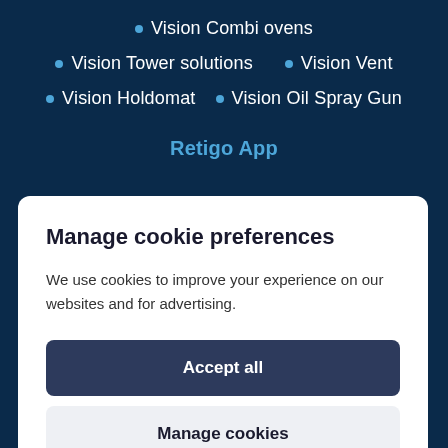Vision Combi ovens
Vision Tower solutions
Vision Vent
Vision Holdomat
Vision Oil Spray Gun
Retigo App
Manage cookie preferences
We use cookies to improve your experience on our websites and for advertising.
Accept all
Manage cookies